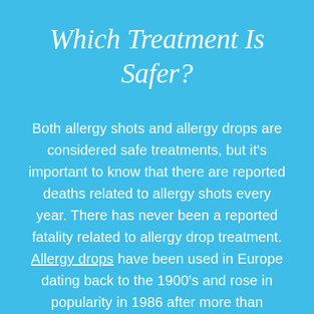Which Treatment Is Safer?
Both allergy shots and allergy drops are considered safe treatments, but it's important to know that there are reported deaths related to allergy shots every year. There has never been a reported fatality related to allergy drop treatment. Allergy drops have been used in Europe dating back to the 1900's and rose in popularity in 1986 after more than